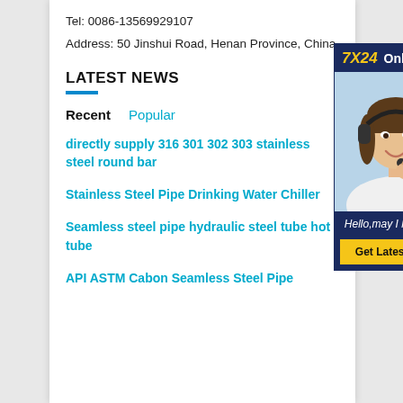Tel: 0086-13569929107
Address: 50 Jinshui Road, Henan Province, China
[Figure (illustration): Customer service widget showing '7X24 Online' header in dark blue with gold/yellow text, a photo of a smiling woman wearing a headset, caption 'Hello,may I help you?' in dark blue background, and a yellow 'Get Latest Price' button.]
LATEST NEWS
Recent   Popular
directly supply 316 301 302 303 stainless steel round bar
Stainless Steel Pipe Drinking Water Chiller
Seamless steel pipe hydraulic steel tube hot tube
API ASTM Cabon Seamless Steel Pipe